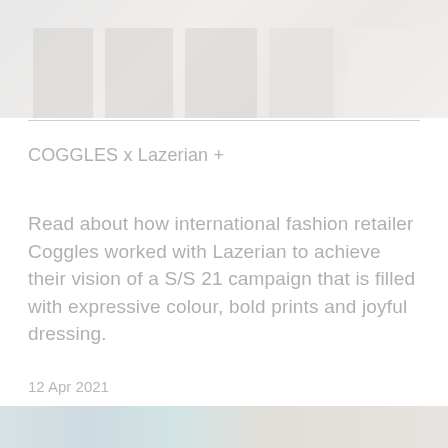[Figure (photo): Fashion items on hangers, light/white clothing against a pale background, partially visible at the top of the page]
COGGLES x Lazerian +
Read about how international fashion retailer Coggles worked with Lazerian to achieve their vision of a S/S 21 campaign that is filled with expressive colour, bold prints and joyful dressing.
12 Apr 2021
[Figure (photo): Partial view of fashion campaign imagery at the bottom of the page, colorful clothing visible]